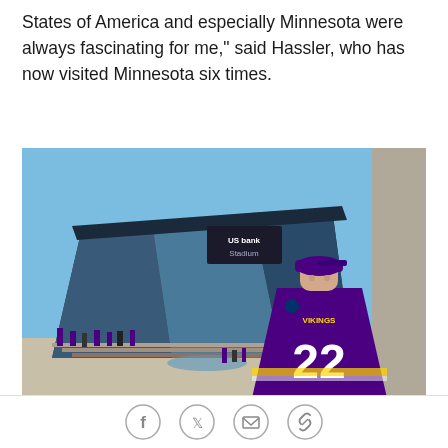States of America and especially Minnesota were always fascinating for me," said Hassler, who has now visited Minnesota six times.
[Figure (photo): A man wearing a Minnesota Vikings #22 jersey and purple cap standing in front of US Bank Stadium in Minneapolis on a sunny day. The stadium's distinctive angular glass and steel architecture is visible behind him, with fans gathered outside.]
Hassler calls Minnesota a "second home" and enjoys spending time at the Mall of America or making the trek
Social share icons: Facebook, Twitter, Email, Link